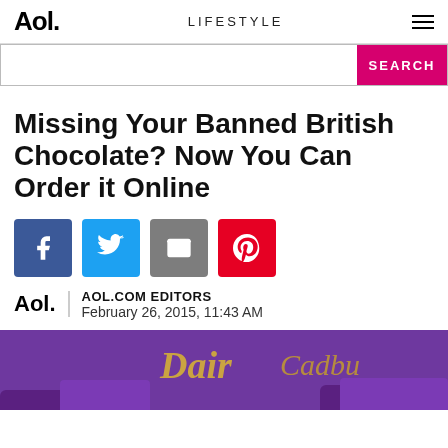Aol. LIFESTYLE ≡
[Figure (screenshot): Search bar with pink SEARCH button]
Missing Your Banned British Chocolate? Now You Can Order it Online
[Figure (infographic): Social share icons: Facebook (blue), Twitter (light blue), Email (gray), Pinterest (red)]
AOL.COM EDITORS
February 26, 2015, 11:43 AM
[Figure (photo): Photo of purple Cadbury Dairy Milk chocolate wrappers]